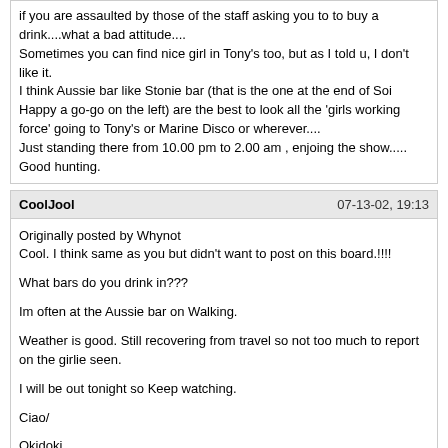if you are assaulted by those of the staff asking you to to buy a drink....what a bad attitude....
Sometimes you can find nice girl in Tony's too, but as I told u, I don't like it.
I think Aussie bar like Stonie bar (that is the one at the end of Soi Happy a go-go on the left) are the best to look all the 'girls working force' going to Tony's or Marine Disco or wherever....
Just standing there from 10.00 pm to 2.00 am , enjoing the show.....
Good hunting.
CoolJool | 07-13-02, 19:13
Originally posted by Whynot
Cool. I think same as you but didn't want to post on this board.!!!!

What bars do you drink in???

Im often at the Aussie bar on Walking.

Weather is good. Still recovering from travel so not too much to report on the girlie seen.

I will be out tonight so Keep watching.

Ciao/

Okidoki...

What about I meet you in the bar at sunbeam hotel tomorrow at around 9 o clock?? It is on soi 8... I see you if you come...

so long
CoolJool | 07-13-02, 20:43
Originally posted by cooljool